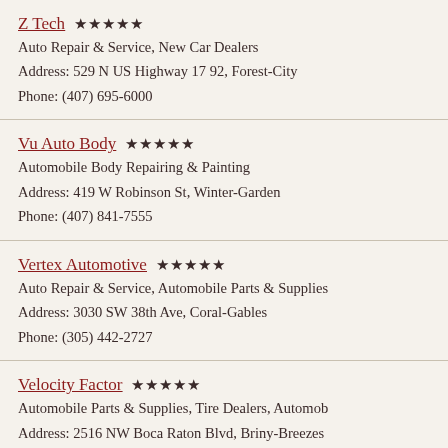Z Tech ★★★★★
Auto Repair & Service, New Car Dealers
Address: 529 N US Highway 17 92, Forest-City
Phone: (407) 695-6000
Vu Auto Body ★★★★★
Automobile Body Repairing & Painting
Address: 419 W Robinson St, Winter-Garden
Phone: (407) 841-7555
Vertex Automotive ★★★★★
Auto Repair & Service, Automobile Parts & Supplies
Address: 3030 SW 38th Ave, Coral-Gables
Phone: (305) 442-2727
Velocity Factor ★★★★★
Automobile Parts & Supplies, Tire Dealers, Automobile
Address: 2516 NW Boca Raton Blvd, Briny-Breezes
Phone: (561) 395-5700